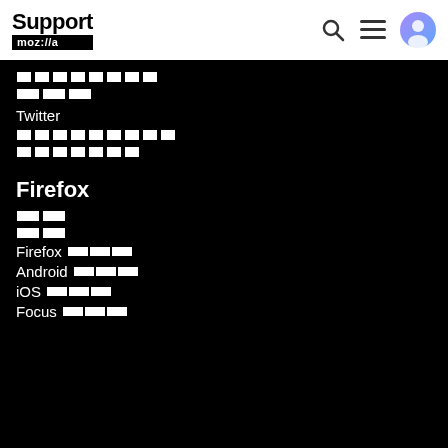Support mozilla //a
[redacted content lines]
Twitter
[redacted content lines]
Firefox
[redacted content lines]
Firefox [redacted]
Android [redacted]
iOS [redacted]
Focus [redacted]